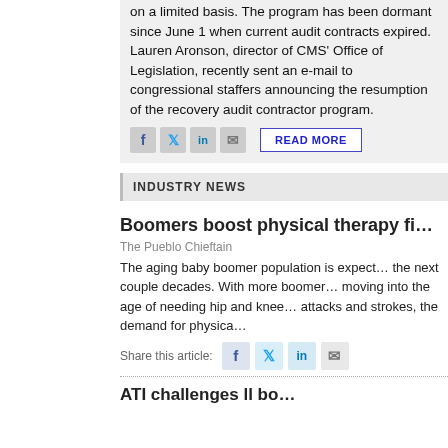on a limited basis. The program has been dormant since June 1 when current audit contracts expired. Lauren Aronson, director of CMS' Office of Legislation, recently sent an e-mail to congressional staffers announcing the resumption of the recovery audit contractor program.
INDUSTRY NEWS
Boomers boost physical therapy fi…
The Pueblo Chieftain
The aging baby boomer population is expect… the next couple decades. With more boomer… moving into the age of needing hip and knee… attacks and strokes, the demand for physica…
Share this article: